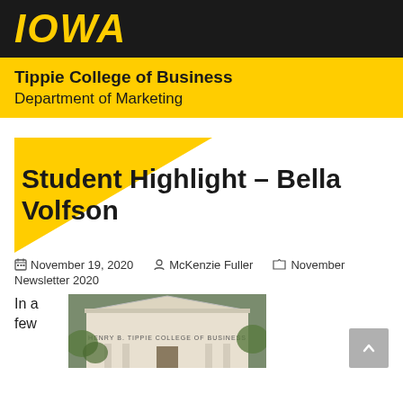IOWA
Tippie College of Business
Department of Marketing
Student Highlight – Bella Volfson
November 19, 2020  McKenzie Fuller  November Newsletter 2020
In a few
[Figure (photo): Photo of the Henry B. Tippie College of Business building entrance with white pediment and columns]